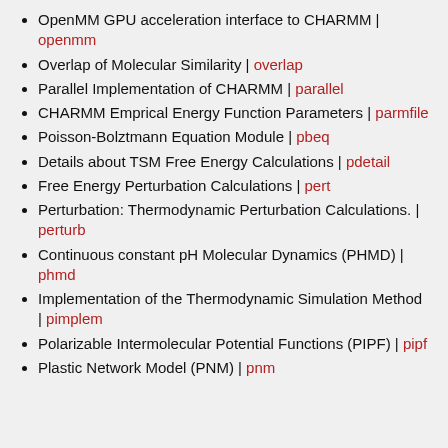OpenMM GPU acceleration interface to CHARMM | openmm
Overlap of Molecular Similarity | overlap
Parallel Implementation of CHARMM | parallel
CHARMM Emprical Energy Function Parameters | parmfile
Poisson-Bolztmann Equation Module | pbeq
Details about TSM Free Energy Calculations | pdetail
Free Energy Perturbation Calculations | pert
Perturbation: Thermodynamic Perturbation Calculations. | perturb
Continuous constant pH Molecular Dynamics (PHMD) | phmd
Implementation of the Thermodynamic Simulation Method | pimplem
Polarizable Intermolecular Potential Functions (PIPF) | pipf
Plastic Network Model (PNM) | pnm